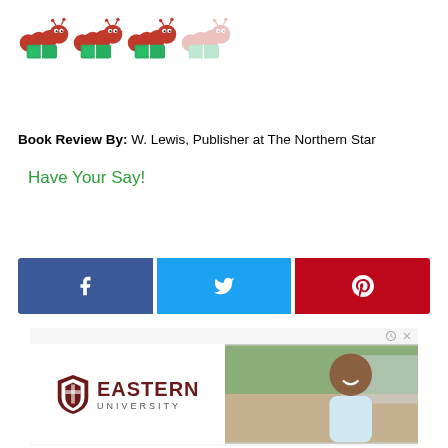[Figure (logo): Four red caterpillar reading book emoji icons (three solid, one faded) arranged in a row]
Book Review By: W. Lewis, Publisher at The Northern Star
Have Your Say!
[Figure (other): Facebook Like button showing thumbs up icon and count 0]
[Figure (other): Social share buttons row: Facebook (blue), Twitter (light blue), Pinterest (red) with respective icons]
[Figure (other): Eastern University advertisement banner with logo on left and photo of smiling student on right]